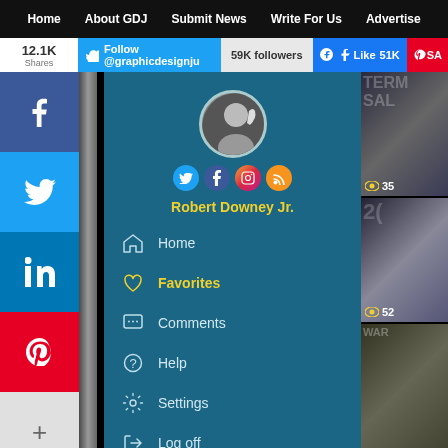Home   About GDJ   Submit News   Write For Us   Advertise
12.1K Shares
Follow @graphicdesignju   59K followers   Like 51K   SA
[Figure (screenshot): Mobile app UI screenshot showing a drawer navigation menu with profile photo of Robert Downey Jr., social icons (Twitter, Facebook, Instagram, RSS), profile name in yellow, and menu items: Home, Favorites (highlighted in yellow), Comments, Help, Settings, Log off. Left side shows social share buttons for Facebook, Twitter, LinkedIn, Pinterest. Right side shows partial movie thumbnails with view counts 35 and 52.]